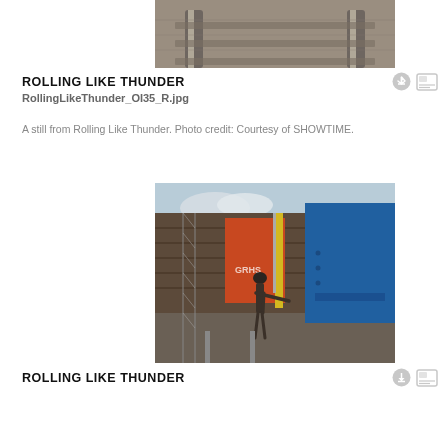[Figure (photo): Cropped top view of railroad tracks on gravel, viewed from above]
ROLLING LIKE THUNDER
RollingLikeThunder_OI35_R.jpg
A still from Rolling Like Thunder. Photo credit: Courtesy of SHOWTIME.
[Figure (photo): Person wearing a hat standing next to a train car decorated with graffiti (blue, orange, red colors) at a rail yard, with chain-link fence visible on the left]
ROLLING LIKE THUNDER